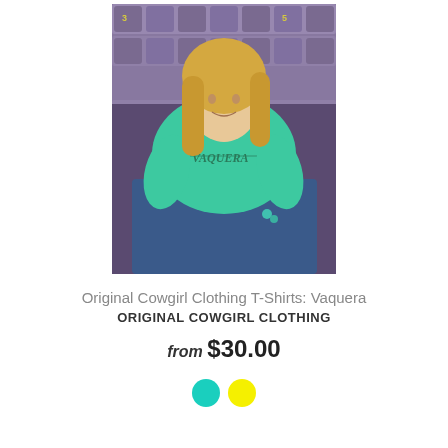[Figure (photo): A blonde woman wearing a teal t-shirt with 'VAQUERA' text sitting in purple stadium seats]
Original Cowgirl Clothing T-Shirts: Vaquera
ORIGINAL COWGIRL CLOTHING
from $30.00
[Figure (other): Two color swatch dots: teal and yellow]